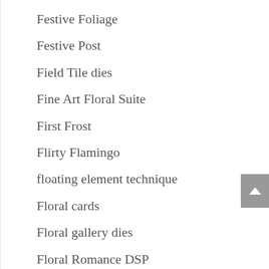Festive Foliage
Festive Post
Field Tile dies
Fine Art Floral Suite
First Frost
Flirty Flamingo
floating element technique
Floral cards
Floral gallery dies
Floral Romance DSP